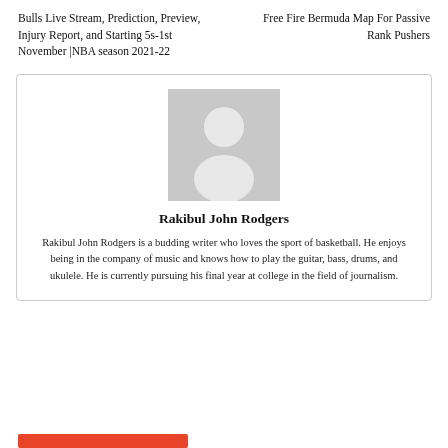Bulls Live Stream, Prediction, Preview, Injury Report, and Starting 5s-1st November |NBA season 2021-22
Free Fire Bermuda Map For Passive Rank Pushers
[Figure (photo): Generic author placeholder avatar - grey silhouette of a person on grey background]
Rakibul John Rodgers
Rakibul John Rodgers is a budding writer who loves the sport of basketball. He enjoys being in the company of music and knows how to play the guitar, bass, drums, and ukulele. He is currently pursuing his final year at college in the field of journalism.